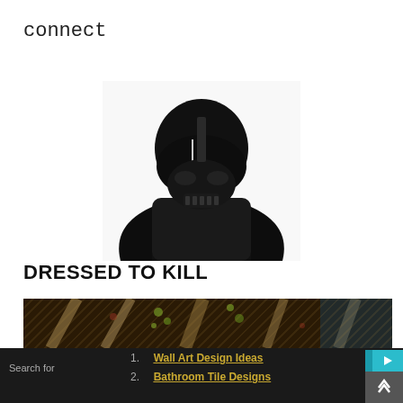connect
[Figure (photo): Black and white image of a Darth Vader figure/costume, showing the helmet and upper body against a white background]
DRESSED TO KILL
[Figure (photo): Colorful photo strip showing what appears to be an ornate ceiling or architectural interior with green and brown decorative elements]
Search for
1. Wall Art Design Ideas
2. Bathroom Tile Designs